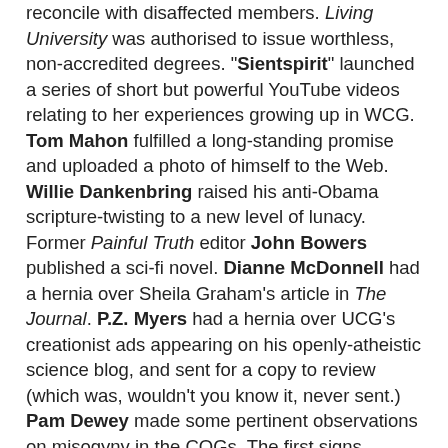reconcile with disaffected members. Living University was authorised to issue worthless, non-accredited degrees. "Sientspirit" launched a series of short but powerful YouTube videos relating to her experiences growing up in WCG. Tom Mahon fulfilled a long-standing promise and uploaded a photo of himself to the Web. Willie Dankenbring raised his anti-Obama scripture-twisting to a new level of lunacy. Former Painful Truth editor John Bowers published a sci-fi novel. Dianne McDonnell had a hernia over Sheila Graham's article in The Journal. P.Z. Myers had a hernia over UCG's creationist ads appearing on his openly-atheistic science blog, and sent for a copy to review (which was, wouldn't you know it, never sent.) Pam Dewey made some pertinent observations on misogyny in the COGs. The first signs appeared of problems on UCG's COE with Richard Thompson leaving ("for personal reasons") and el Presidente Clyde Kilough making a discrete sideways shuffle.
August: The Living Armstrongism blog chalked up a remarkable success with an email campaign to put a spoke in PCG's efforts at distributing their rag via a South African firm.